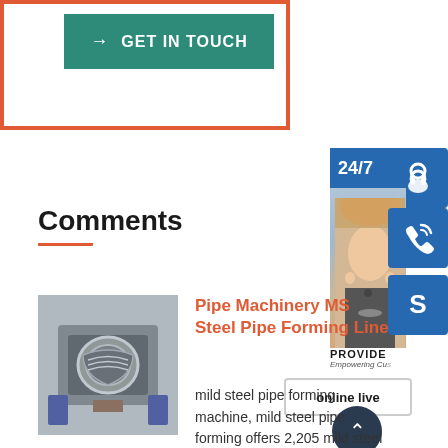[Figure (screenshot): Teal 'GET IN TOUCH' button with right arrow, inside orange border box]
[Figure (infographic): 24/7 banner and customer support agent photo with headset, blue support icons (headset, phone, Skype) on right side, and 'online live' button]
Comments
[Figure (photo): Industrial pipe forming machinery component, metallic with spiral grooves]
Pipe Machinery MS Steel Pipe Forming Line
mild steel pipe forming machine, mild steel pipe forming offers 2,205 mild steel pipe forming